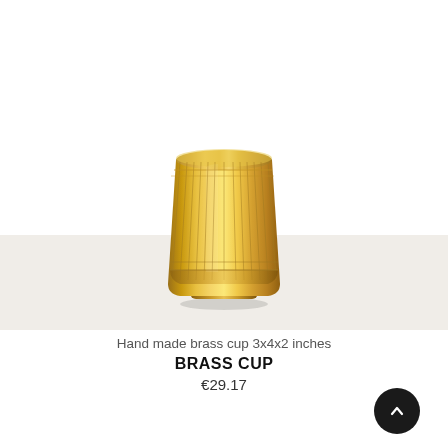[Figure (photo): A polished brass cup with vertical ridged lines on its surface, slightly flared at the top and narrowing at the base, photographed against a white background on a light beige surface.]
Hand made brass cup 3x4x2 inches
BRASS CUP
€29.17